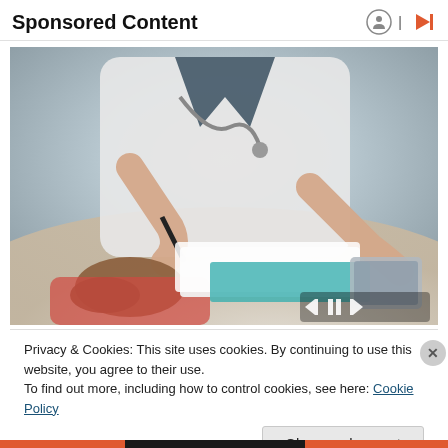Sponsored Content
[Figure (photo): Doctor in white coat with stethoscope holding a pen, gesturing toward a patient seated across a desk with documents and a tablet. Close-up of hands and torso.]
Privacy & Cookies: This site uses cookies. By continuing to use this website, you agree to their use.
To find out more, including how to control cookies, see here: Cookie Policy
Close and accept